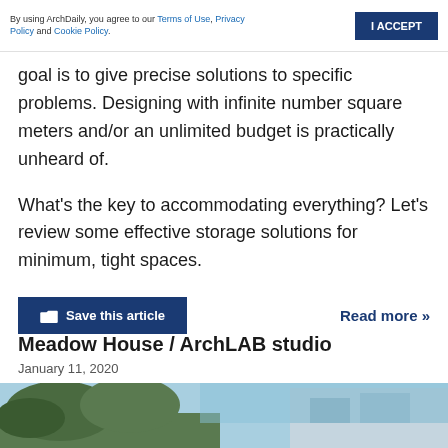By using ArchDaily, you agree to our Terms of Use, Privacy Policy and Cookie Policy. | I ACCEPT
goal is to give precise solutions to specific problems. Designing with infinite number square meters and/or an unlimited budget is practically unheard of.
What's the key to accommodating everything? Let's review some effective storage solutions for minimum, tight spaces.
Save this article    Read more »
Meadow House / ArchLAB studio
January 11, 2020
[Figure (photo): Partial view of building exterior with trees and sky, bottom strip of page]